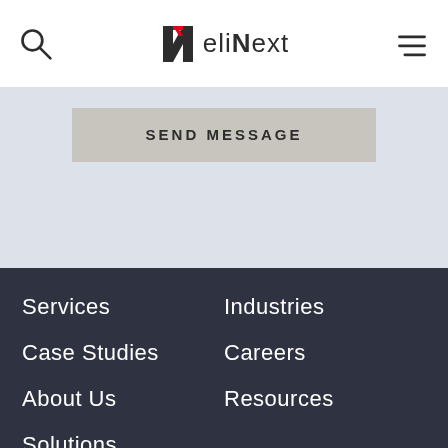eliNext
SEND MESSAGE
Services
Industries
Case Studies
Careers
About Us
Resources
Solutions